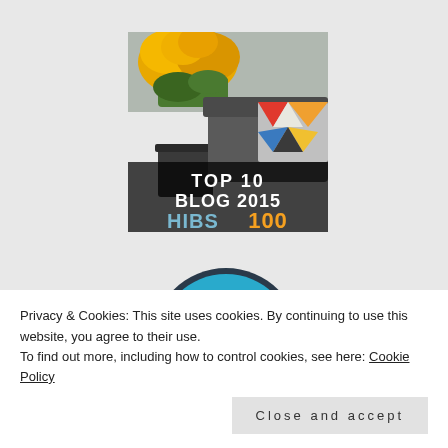[Figure (photo): A badge image showing a photo of yellow chrysanthemum flowers in a dark pot beside a grey sofa with geometric patterned cushions. Overlaid text reads: TOP 10 BLOG 2015 HIBS 100]
[Figure (other): A circular blue badge showing '2019' at the top with a partially visible logo/wordmark below (appears to be a blog award badge)]
Privacy & Cookies: This site uses cookies. By continuing to use this website, you agree to their use.
To find out more, including how to control cookies, see here: Cookie Policy
Close and accept